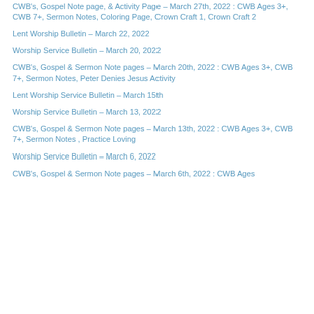CWB's, Gospel Note page, & Activity Page – March 27th, 2022 : CWB Ages 3+, CWB 7+, Sermon Notes, Coloring Page, Crown Craft 1, Crown Craft 2
Lent Worship Bulletin – March 22, 2022
Worship Service Bulletin – March 20, 2022
CWB's, Gospel & Sermon Note pages – March 20th, 2022 : CWB Ages 3+, CWB 7+, Sermon Notes, Peter Denies Jesus Activity
Lent Worship Service Bulletin – March 15th
Worship Service Bulletin – March 13, 2022
CWB's, Gospel & Sermon Note pages – March 13th, 2022 : CWB Ages 3+, CWB 7+, Sermon Notes , Practice Loving
Worship Service Bulletin – March 6, 2022
CWB's, Gospel & Sermon Note pages – March 6th, 2022 : CWB Ages